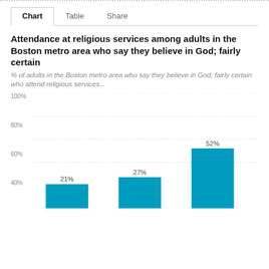Chart | Table | Share
Attendance at religious services among adults in the Boston metro area who say they believe in God; fairly certain
% of adults in the Boston metro area who say they believe in God; fairly certain who attend religious services...
[Figure (bar-chart): Attendance at religious services among adults in the Boston metro area who say they believe in God; fairly certain]